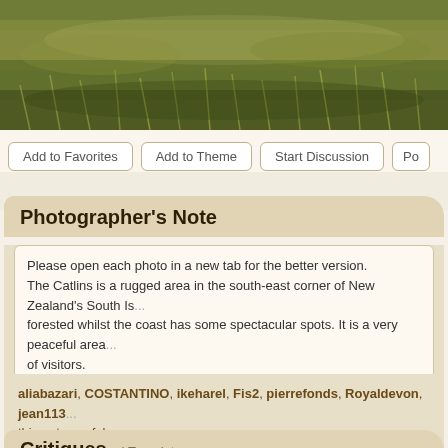[Figure (photo): Top portion of a landscape photo showing rugged grassland/moorland with golden-green grasses, appears to be coastal New Zealand scenery (The Catlins area)]
Add to Favorites
Add to Theme
Start Discussion
Po...
Photographer's Note
Please open each photo in a new tab for the better version.
The Catlins is a rugged area in the south-east corner of New Zealand's South Is... forested whilst the coast has some spectacular spots. It is a very peaceful area... of visitors.
At Waipapa Point there is an old lighthouse dating from 1884. It was built after a... There is another photo of it in the WS and also a photo looking along the nearby... Have a good long weekend (if relevant) - I'll be back when the family have all go...
aliabazari, COSTANTINO, ikeharel, Fis2, pierrefonds, Royaldevon, jean113... this note useful
Critiques | Translate ▼